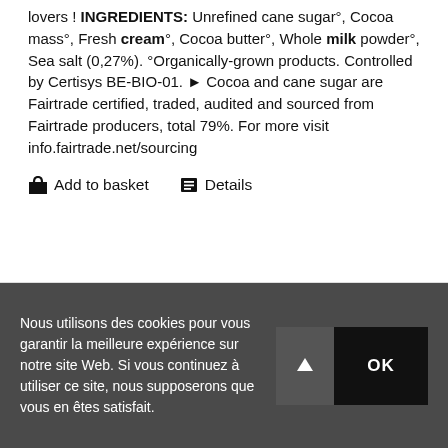lovers ! INGREDIENTS: Unrefined cane sugar°, Cocoa mass°, Fresh cream°, Cocoa butter°, Whole milk powder°, Sea salt (0,27%). °Organically-grown products. Controlled by Certisys BE-BIO-01. ► Cocoa and cane sugar are Fairtrade certified, traded, audited and sourced from Fairtrade producers, total 79%. For more visit info.fairtrade.net/sourcing
Add to basket   Details
Nous utilisons des cookies pour vous garantir la meilleure expérience sur notre site Web. Si vous continuez à utiliser ce site, nous supposerons que vous en êtes satisfait.